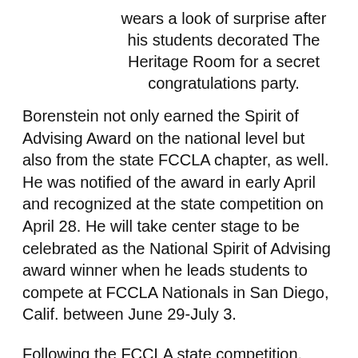wears a look of surprise after his students decorated The Heritage Room for a secret congratulations party.
Borenstein not only earned the Spirit of Advising Award on the national level but also from the state FCCLA chapter, as well. He was notified of the award in early April and recognized at the state competition on April 28. He will take center stage to be celebrated as the National Spirit of Advising award winner when he leads students to compete at FCCLA Nationals in San Diego, Calif. between June 29-July 3.
Following the FCCLA state competition, students in the organization and throughout the Culinary Arts program put together a surprise party to congratulate him on the achievement. Culinary